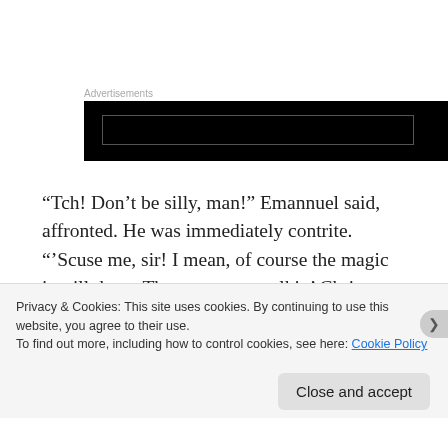Advertisements
[Figure (other): Black advertisement banner with dark inner rectangle]
“Tch! Don’t be silly, man!” Emannuel said, affronted. He was immediately contrite. “’Scuse me, sir! I mean, of course the magic is still there. These two are walkin’ Christmas spirits!”
“I would ask them the question and not you, young
Privacy & Cookies: This site uses cookies. By continuing to use this website, you agree to their use.
To find out more, including how to control cookies, see here: Cookie Policy